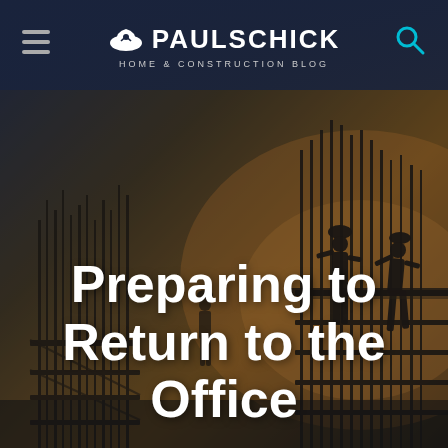PAULSCHICK HOME & CONSTRUCTION BLOG
[Figure (photo): Construction workers silhouetted against a sunset sky on a building site with steel rebar and scaffolding. The image has a dark blue-to-golden-brown gradient overlay.]
Preparing to Return to the Office